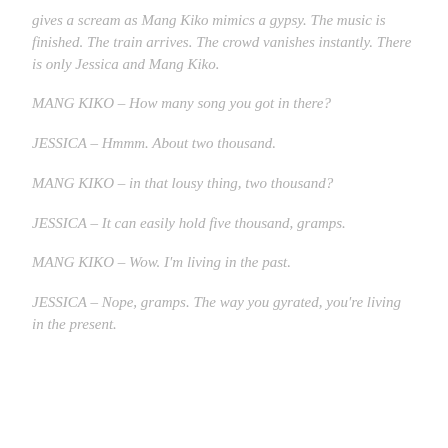gives a scream as Mang Kiko mimics a gypsy. The music is finished. The train arrives. The crowd vanishes instantly. There is only Jessica and Mang Kiko.
MANG KIKO – How many song you got in there?
JESSICA – Hmmm. About two thousand.
MANG KIKO – in that lousy thing, two thousand?
JESSICA – It can easily hold five thousand, gramps.
MANG KIKO – Wow. I'm living in the past.
JESSICA – Nope, gramps. The way you gyrated, you're living in the present.